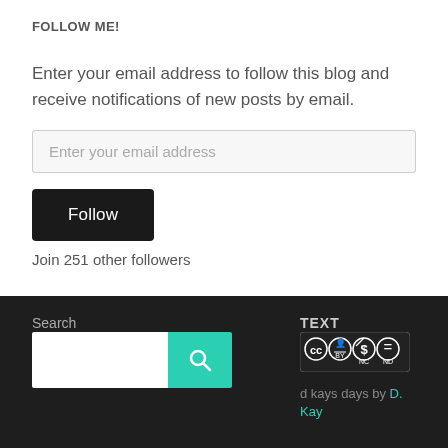FOLLOW ME!
Enter your email address to follow this blog and receive notifications of new posts by email.
Enter your email address
Follow
Join 251 other followers
Search
TEXT
[Figure (logo): Creative Commons CC BY NC ND license badge]
d kays days by D. Kay